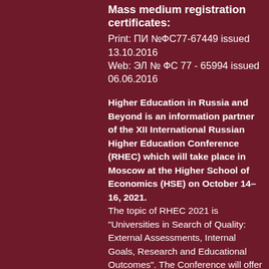Mass medium registration certificates:
Print: ПИ №ФС77-67449 issued 13.10.2016
Web: ЭЛ № ФС 77 - 65994 issued 06.06.2016
Higher Education in Russia and Beyond is an information partner of the XII International Russian Higher Education Conference (RHEC) which will take place in Moscow at the Higher School of Economics (HSE) on October 14–16, 2021.
The topic of RHEC 2021 is "Universities in Search of Quality: External Assessments, Internal Goals, Research and Educational Outcomes". The Conference will offer a vibrant international forum for academics